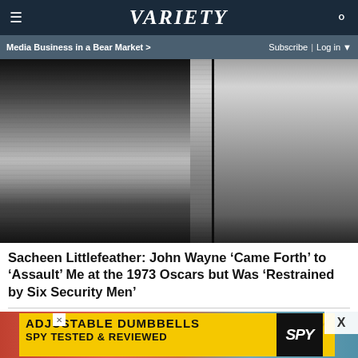VARIETY — Media Business in a Bear Market > | Subscribe | Log in
[Figure (photo): Black and white photo showing two people: a woman on the left wearing a patterned outfit and holding papers, and an older man on the right wearing a dark button-up top. Photo is cropped at the neck, showing no faces.]
Sacheen Littlefeather: John Wayne 'Came Forth' to 'Assault' Me at the 1973 Oscars but Was 'Restrained by Six Security Men'
[Figure (photo): Color photo (partially visible) showing someone in a red/orange draped garment with a blue background.]
[Figure (other): Advertisement banner: ADJUSTABLE DUMBBELLS / SPY TESTED & REVIEWED — yellow background with SPY logo in black on the right side. X close button in upper right.]